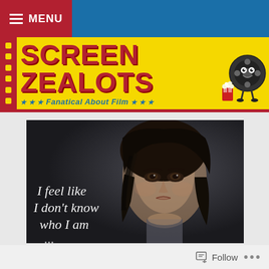MENU
[Figure (logo): Screen Zealots banner logo with yellow background, red text 'SCREEN ZEALOTS', subtitle 'Fanatical About Film' with stars, film reel mascot holding popcorn]
[Figure (photo): Movie still: young woman with dark hair looking forward, white handwritten text overlay reading 'I feel like I don't know who I am']
Follow ...